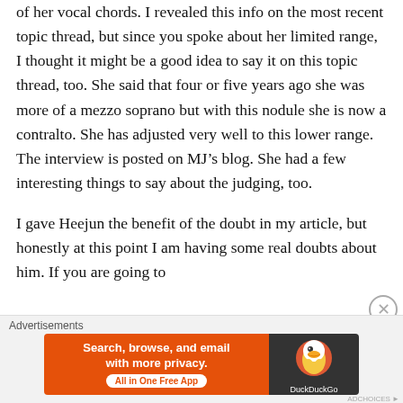of her vocal chords. I revealed this info on the most recent topic thread, but since you spoke about her limited range, I thought it might be a good idea to say it on this topic thread, too. She said that four or five years ago she was more of a mezzo soprano but with this nodule she is now a contralto. She has adjusted very well to this lower range. The interview is posted on MJ's blog. She had a few interesting things to say about the judging, too.
I gave Heejun the benefit of the doubt in my article, but honestly at this point I am having some real doubts about him. If you are going to
[Figure (infographic): DuckDuckGo advertisement banner: orange left panel with text 'Search, browse, and email with more privacy. All in One Free App' and dark right panel with DuckDuckGo logo]